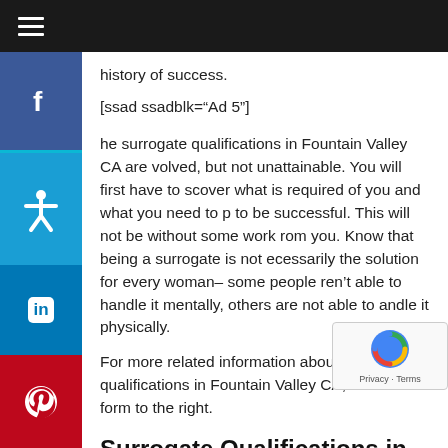≡ (navigation hamburger menu)
history of success.
[ssad ssadblk="Ad 5"]
he surrogate qualifications in Fountain Valley CA are volved, but not unattainable. You will first have to scover what is required of you and what you need to p to be successful. This will not be without some work rom you. Know that being a surrogate is not ecessarily the solution for every woman– some people ren't able to handle it mentally, others are not able to andle it physically.
For more related information about surrogate qualifications in Fountain Valley CA, fill out the form to the right.
Surrogate Qualifications in Fountain Valley CA – What You